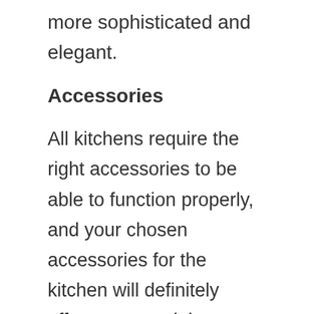more sophisticated and elegant.
Accessories
All kitchens require the right accessories to be able to function properly, and your chosen accessories for the kitchen will definitely affect your modular kitchen price. So during the planning stage, you should consider what accessories you really need to have in your kitchen.
The accessories you choose should only be those that you know you will use. For